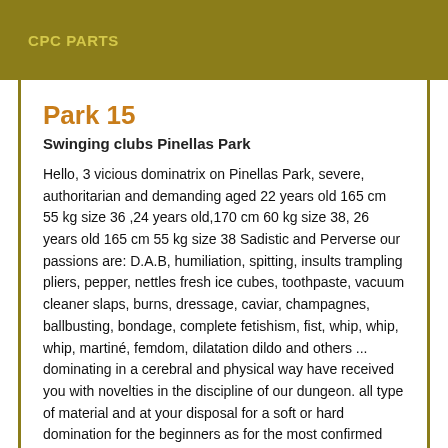CPC PARTS
Park 15
Swinging clubs Pinellas Park
Hello, 3 vicious dominatrix on Pinellas Park, severe, authoritarian and demanding aged 22 years old 165 cm 55 kg size 36 ,24 years old,170 cm 60 kg size 38, 26 years old 165 cm 55 kg size 38 Sadistic and Perverse our passions are: D.A.B, humiliation, spitting, insults trampling pliers, pepper, nettles fresh ice cubes, toothpaste, vacuum cleaner slaps, burns, dressage, caviar, champagnes, ballbusting, bondage, complete fetishism, fist, whip, whip, whip, martiné, femdom, dilatation dildo and others ... dominating in a cerebral and physical way have received you with novelties in the discipline of our dungeon. all type of material and at your disposal for a soft or hard domination for the beginners as for the most confirmed attention extremely severe for the most enduring but very soft with the beginners